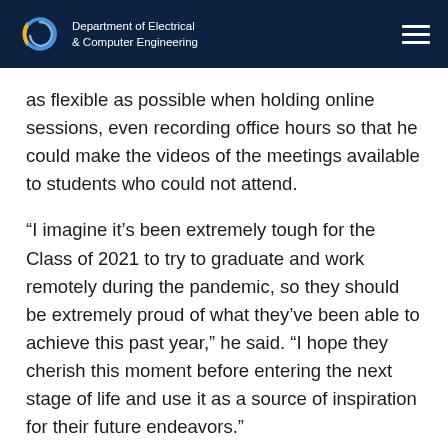Department of Electrical & Computer Engineering
as flexible as possible when holding online sessions, even recording office hours so that he could make the videos of the meetings available to students who could not attend.
“I imagine it’s been extremely tough for the Class of 2021 to try to graduate and work remotely during the pandemic, so they should be extremely proud of what they’ve been able to achieve this past year,” he said. “I hope they cherish this moment before entering the next stage of life and use it as a source of inspiration for their future endeavors.”
Karnaty plans to work in industry after completing his PhD. He says teaching has helped him have a deeper understanding of his field and made him a more